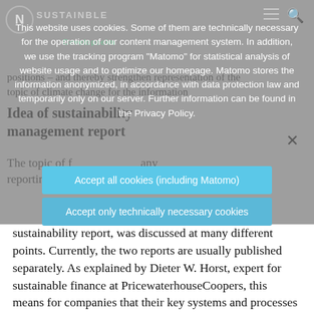N SUSTAINBLE Developseim
positions – and thereby strengthen representation of the topic of climate change for the information
Idea of sustainability management report
The topic of f... any reporting w... g sustainability report, was discussed at many different points.
This website uses cookies. Some of them are technically necessary for the operation of our content management system. In addition, we use the tracking program "Matomo" for statistical analysis of website usage and to optimize our homepage. Matomo stores the information anonymized, in accordance with data protection law and temporarily only on our server. Further information can be found in the Privacy Policy.
Accept all cookies (including Matomo)
Accept only technically necessary cookies
sustainability report, was discussed at many different points. Currently, the two reports are usually published separately. As explained by Dieter W. Horst, expert for sustainable finance at PricewaterhouseCoopers, this means for companies that their key systems and processes are not yet tailored to the topic of sustainability.
At 80 per cent of companies, the finance and accounting